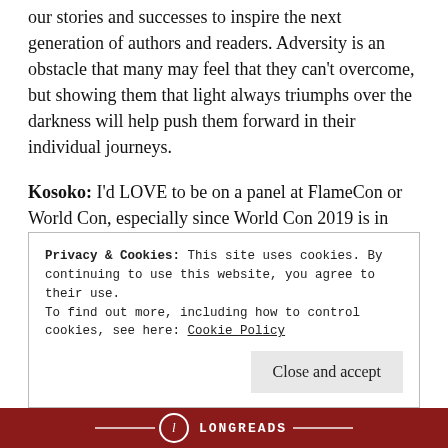our stories and successes to inspire the next generation of authors and readers. Adversity is an obstacle that many may feel that they can't overcome, but showing them that light always triumphs over the darkness will help push them forward in their individual journeys.
Kosoko: I'd LOVE to be on a panel at FlameCon or World Con, especially since World Con 2019 is in Dublin, Ireland—one of my favorite cities in the world—and speaks heavily to my desire to make more LGBT POC YA stories international. It kills 2 birds with one stone. FlameCon would be amazing because it's so many awesome LGBT creators in one space of all types.
Privacy & Cookies: This site uses cookies. By continuing to use this website, you agree to their use.
To find out more, including how to control cookies, see here: Cookie Policy
Close and accept
[Figure (logo): Longreads logo bar in dark red/maroon with decorative lines, a circular L emblem, and LONGREADS text in monospace uppercase]